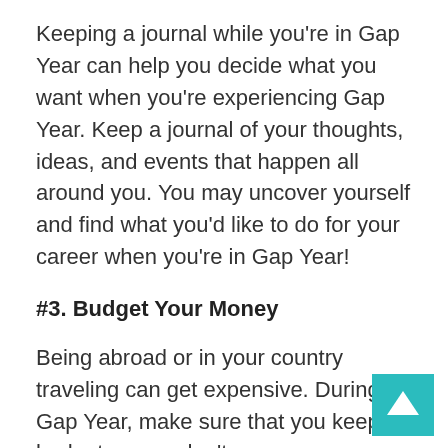Keeping a journal while you're in Gap Year can help you decide what you want when you're experiencing Gap Year. Keep a journal of your thoughts, ideas, and events that happen all around you. You may uncover yourself and find what you'd like to do for your career when you're in Gap Year!
#3. Budget Your Money
Being abroad or in your country traveling can get expensive. During Gap Year, make sure that you keep a budget so you don't go over your budget, or worse—get in debt. I've he horror stories of one student who ran out of